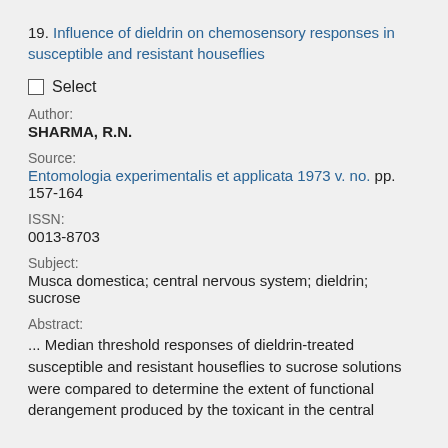19. Influence of dieldrin on chemosensory responses in susceptible and resistant houseflies
Select
Author:
SHARMA, R.N.
Source:
Entomologia experimentalis et applicata 1973 v. no. pp. 157-164
ISSN:
0013-8703
Subject:
Musca domestica; central nervous system; dieldrin; sucrose
Abstract:
... Median threshold responses of dieldrin-treated susceptible and resistant houseflies to sucrose solutions were compared to determine the extent of functional derangement produced by the toxicant in the central